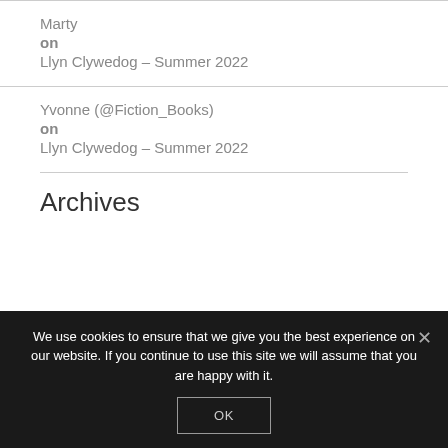Marty
on
Llyn Clywedog – Summer 2022
Yvonne (@Fiction_Books)
on
Llyn Clywedog – Summer 2022
Archives
We use cookies to ensure that we give you the best experience on our website. If you continue to use this site we will assume that you are happy with it.